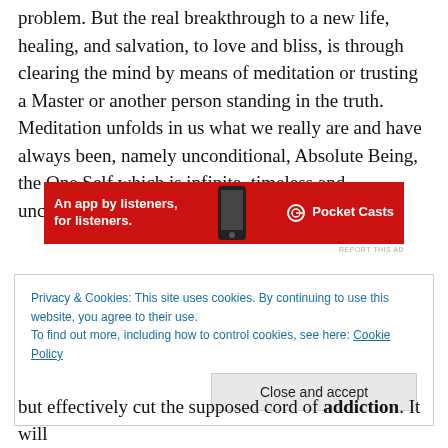problem. But the real breakthrough to a new life, healing, and salvation, to love and bliss, is through clearing the mind by means of meditation or trusting a Master or another person standing in the truth. Meditation unfolds in us what we really are and have always been, namely unconditional, Absolute Being, the One Self which is infinite, timeless and unchanging.
[Figure (other): Pocket Casts advertisement banner — red background with white bold text 'An app by listeners, for listeners.' and 'Pocket Casts' logo with phone image]
Privacy & Cookies: This site uses cookies. By continuing to use this website, you agree to their use.
To find out more, including how to control cookies, see here: Cookie Policy
[Close and accept button]
but effectively cut the supposed cord of addiction. It will